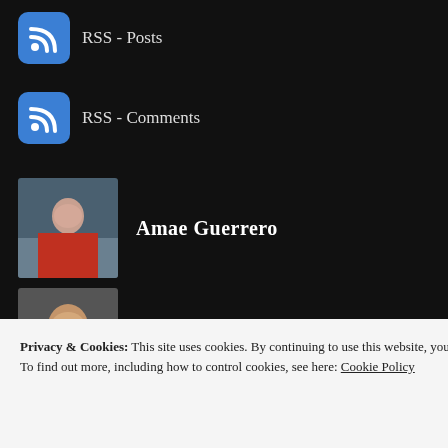RSS - Posts
RSS - Comments
Amae Guerrero
Micheal4Peace
Ray Barbier
sjonassen
Privacy & Cookies: This site uses cookies. By continuing to use this website, you agree to their use. To find out more, including how to control cookies, see here: Cookie Policy
Close and accept